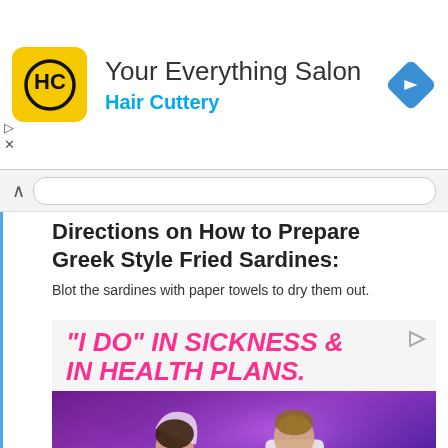[Figure (infographic): Hair Cuttery advertisement banner. Logo: yellow rounded square with HC in black. Text: 'Your Everything Salon' with 'Hair Cuttery' in blue. Blue diamond navigation icon on right.]
[Figure (screenshot): Browser navigation bar with up chevron and URL input field]
Directions on How to Prepare Greek Style Fried Sardines:
Blot the sardines with paper towels to dry them out.
[Figure (infographic): HealthCare.gov advertisement. Top: '"I DO" IN SICKNESS & IN HEALTH PLANS.' in bold italic pink text on light gray background. Middle: photo of bride and groom dancing at wedding reception with purple lighting. Bottom: pink bar with 'HealthCare.gov' in white and 'LEARN MORE' button in white box.]